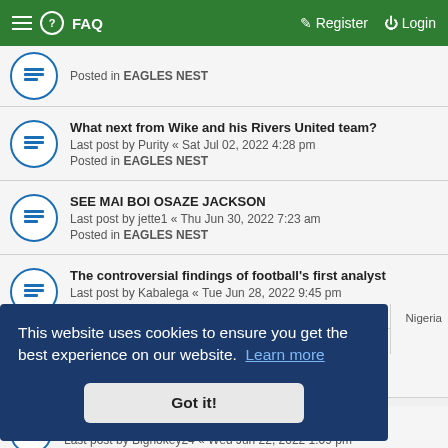FAQ  Register  Login
Posted in EAGLES NEST
What next from Wike and his Rivers United team?
Last post by Purity « Sat Jul 02, 2022 4:28 pm
Posted in EAGLES NEST
SEE MAI BOI OSAZE JACKSON
Last post by jette1 « Thu Jun 30, 2022 7:23 am
Posted in EAGLES NEST
The controversial findings of football's first analyst
Last post by Kabalega « Tue Jun 28, 2022 9:45 pm
Posted in WORLD FOOTBALL
My Facial Injury was a NEAR-DEATH Experience -- Osimhen
This website uses cookies to ensure you get the best experience on our website. Learn more
Got it!
Nigeria
(2019 – 2022)
Last post by Bignokey24 « Wed Jun 22, 2022 1:09 pm